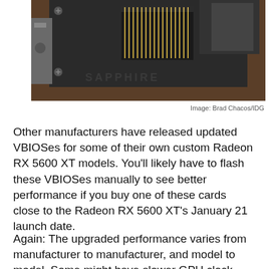[Figure (photo): Close-up photograph of a GPU/graphics card heat sink and metal components on a wooden surface, showing fins, screws, and dark metallic body.]
Image: Brad Chacos/IDG
Other manufacturers have released updated VBIOSes for some of their own custom Radeon RX 5600 XT models. You'll likely have to flash these VBIOSes manually to see better performance if you buy one of these cards close to the Radeon RX 5600 XT's January 21 launch date.
Again: The upgraded performance varies from manufacturer to manufacturer, and model to model. Some might have slower GPU clock speeds